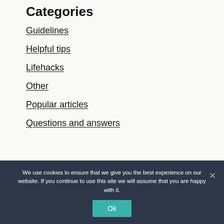Categories
Guidelines
Helpful tips
Lifehacks
Other
Popular articles
Questions and answers
We use cookies to ensure that we give you the best experience on our website. If you continue to use this site we will assume that you are happy with it.
Ok